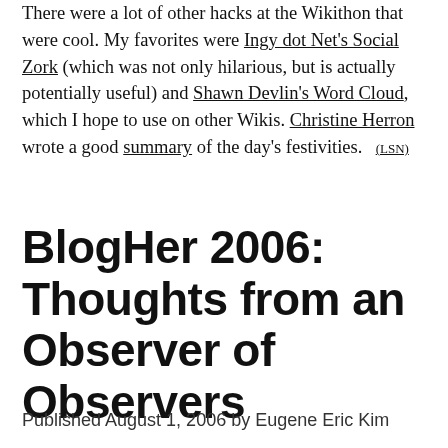There were a lot of other hacks at the Wikithon that were cool. My favorites were Ingy dot Net's Social Zork (which was not only hilarious, but is actually potentially useful) and Shawn Devlin's Word Cloud, which I hope to use on other Wikis. Christine Herron wrote a good summary of the day's festivities. (LSN)
BlogHer 2006: Thoughts from an Observer of Observers
Published August 1, 2006 by Eugene Eric Kim